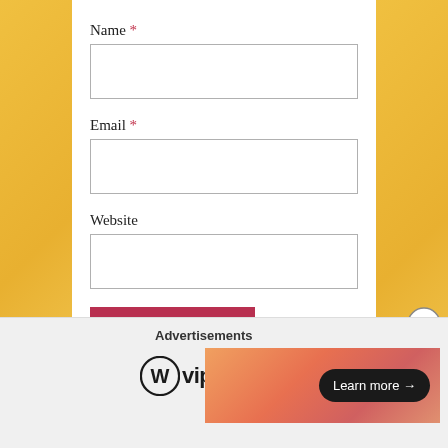Name *
[Figure (other): Empty text input field for Name]
Email *
[Figure (other): Empty text input field for Email]
Website
[Figure (other): Empty text input field for Website]
[Figure (other): Post Comment button (dark red/crimson background, white text)]
Notify me of new comments via email.
Notify me of new posts via email.
Advertisements
[Figure (logo): WordPress VIP logo with circle W icon and 'vip' text]
[Figure (other): Advertisement banner with gradient background and 'Learn more →' button]